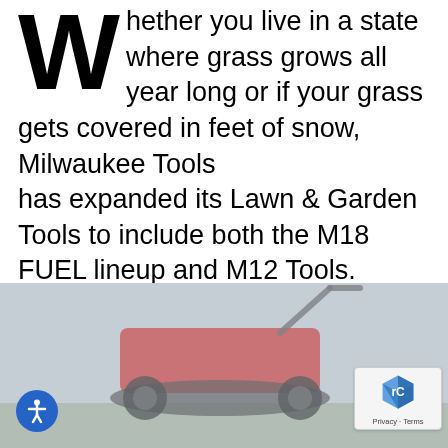Whether you live in a state where grass grows all year long or if your grass gets covered in feet of snow, Milwaukee Tools has expanded its Lawn & Garden Tools to include both the M18 FUEL lineup and M12 Tools. Milwaukee Tools has been practicing its motto of Disruptive Innovation and has succeeded over...
Acme Tools / August 10, 2022
[Figure (photo): Photo of a red Milwaukee Tools lawn mower on grass, partially faded/greyed out]